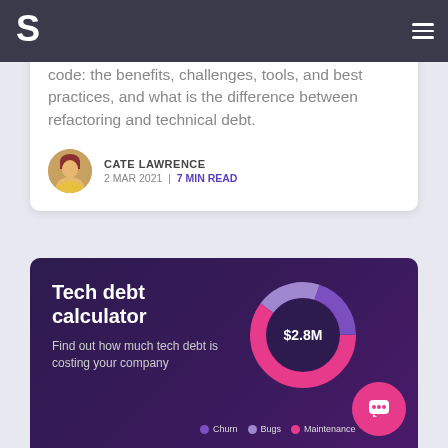S [logo] [menu]
code: the benefits, challenges, tools, and best practices, and what is the difference between refactoring and technical debt.
CATE LAWRENCE
2 MAR 2021 | 7 MIN READ
[Figure (infographic): Tech debt calculator promotional card with donut chart showing $2.8M in the center, with legend items: Churn (purple), Bugs (lavender), Maintenance (pink)]
Tech debt calculator. Find out how much tech debt is costing your company.